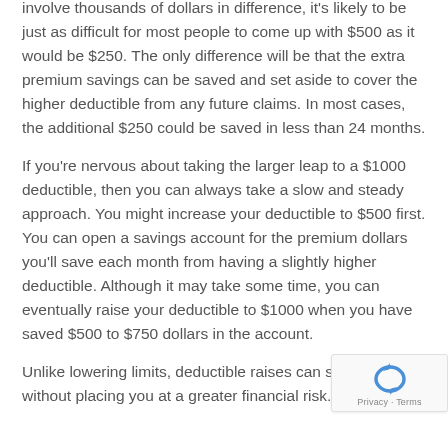involve thousands of dollars in difference, it's likely to be just as difficult for most people to come up with $500 as it would be $250. The only difference will be that the extra premium savings can be saved and set aside to cover the higher deductible from any future claims. In most cases, the additional $250 could be saved in less than 24 months.
If you're nervous about taking the larger leap to a $1000 deductible, then you can always take a slow and steady approach. You might increase your deductible to $500 first. You can open a savings account for the premium dollars you'll save each month from having a slightly higher deductible. Although it may take some time, you can eventually raise your deductible to $1000 when you have saved $500 to $750 dollars in the account.
Unlike lowering limits, deductible raises can save money without placing you at a greater financial risk.